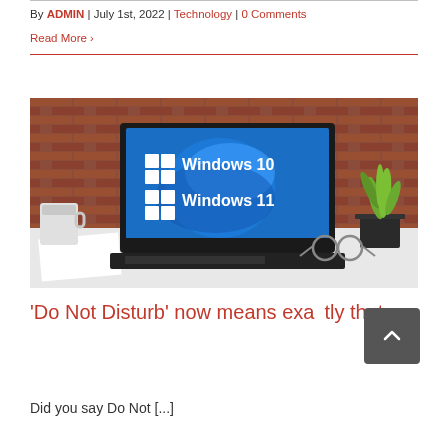By ADMIN | July 1st, 2022 | Technology | 0 Comments
Read More >
[Figure (photo): Laptop on a desk showing Windows 10 / Windows 11 logos on screen, with a coffee mug on the left and a plant on the right against a brick wall background.]
'Do Not Disturb' now means exactly that
Did you say Do Not [...]